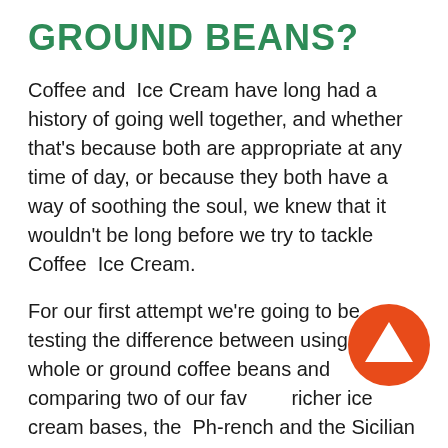GROUND BEANS?
Coffee and Ice Cream have long had a history of going well together, and whether that’s because both are appropriate at any time of day, or because they both have a way of soothing the soul, we knew that it wouldn’t be long before we try to tackle Coffee Ice Cream.
For our first attempt we’re going to be testing the difference between using fresh whole or ground coffee beans and comparing two of our fav... richer ice cream bases, the Ph-rench and the Sicilian (see our ice cream base experiment here). To start, we’ll keep the amount of coffee
[Figure (logo): Orange circle badge with white triangle/arrow icon]